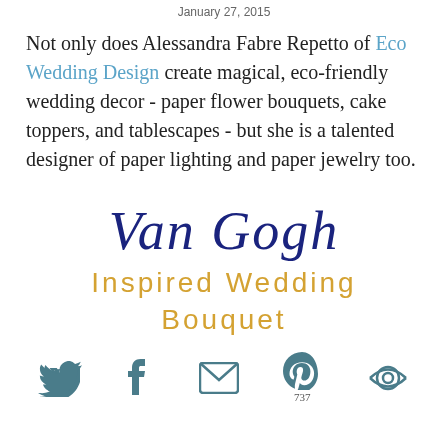January 27, 2015
Not only does Alessandra Fabre Repetto of Eco Wedding Design create magical, eco-friendly wedding decor - paper flower bouquets, cake toppers, and tablescapes - but she is a talented designer of paper lighting and paper jewelry too.
Van Gogh Inspired Wedding Bouquet
Twitter, Facebook, Email, Pinterest 737, Share